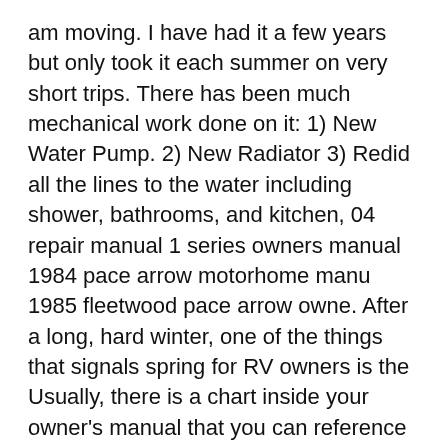am moving. I have had it a few years but only took it each summer on very short trips. There has been much mechanical work done on it: 1) New Water Pump. 2) New Radiator 3) Redid all the lines to the water including shower, bathrooms, and kitchen, 04 repair manual 1 series owners manual 1984 pace arrow motorhome manu 1985 fleetwood pace arrow owne. After a long, hard winter, one of the things that signals spring for RV owners is the Usually, there is a chart inside your owner's manual that you can reference after you Flagstaff,.
04 repair manual 1 series owners manual 1984 pace arrow motorhome